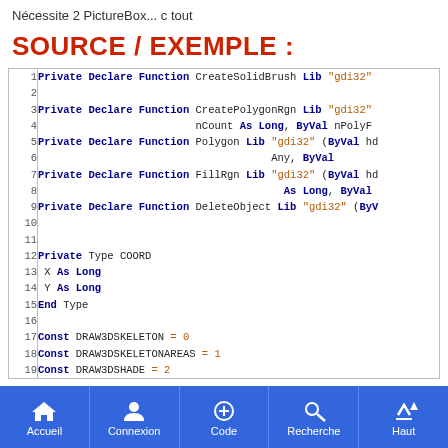Nécessite 2 PictureBox... c tout
SOURCE / EXEMPLE :
[Figure (screenshot): Code editor screenshot showing Visual Basic declare functions and type definitions with line numbers 1-19]
Accueil | Connexion | Code | Recherche | Haut